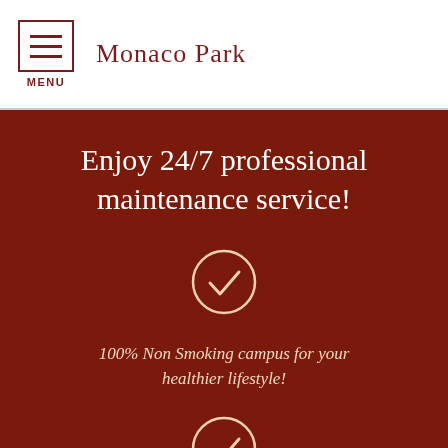Monaco Park
Enjoy 24/7 professional maintenance service!
[Figure (illustration): Checkmark inside a circle icon, white on dark red background]
100% Non Smoking campus for your healthier lifestyle!
[Figure (illustration): Checkmark inside a circle icon, white on dark red background (partially visible at bottom)]